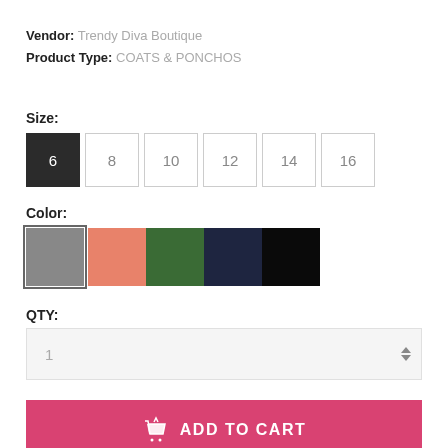Vendor: Trendy Diva Boutique
Product Type: COATS & PONCHOS
Size:
6  8  10  12  14  16
Color:
QTY:
1
ADD TO CART